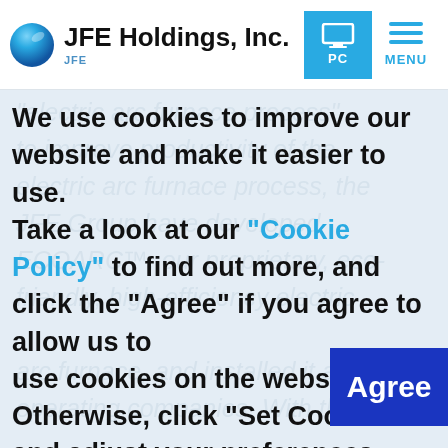JFE Holdings, Inc.
electric arc furnace process" to improve productivity of the electric arc furnace process, the JFE Group have developed ECOARC™, our proprietary, eco-friendly, high-efficiency electric arc furnace, and installed it at operating companies. With the technology, a shaft is attached to
We use cookies to improve our website and make it easier to use. Take a look at our "Cookie Policy" to find out more, and click the "Agree" if you agree to allow us to use cookies on the website. Otherwise, click "Set Cookies" and adjust your preferences.